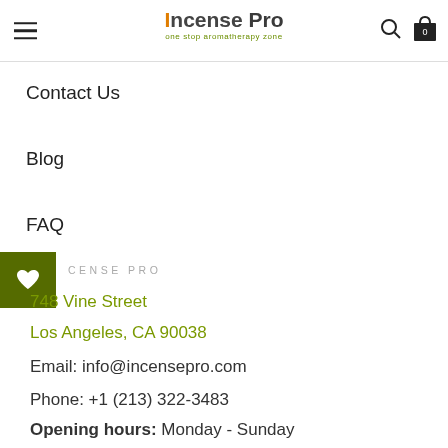Incense Pro — one stop aromatherapy zone
Contact Us
Blog
FAQ
INCENSE PRO
748 Vine Street
Los Angeles, CA 90038
Email: info@incensepro.com
Phone: +1 (213) 322-3483
Opening hours: Monday - Sunday 10:00 AM - 09:00 PM